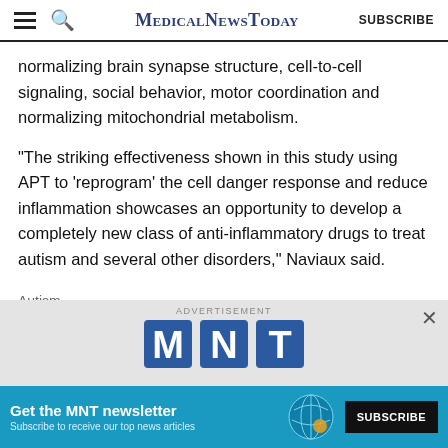MedicalNewsToday | SUBSCRIBE
normalizing brain synapse structure, cell-to-cell signaling, social behavior, motor coordination and normalizing mitochondrial metabolism.
"The striking effectiveness shown in this study using APT to 'reprogram' the cell danger response and reduce inflammation showcases an opportunity to develop a completely new class of anti-inflammatory drugs to treat autism and several other disorders," Naviaux said.
Autism
[Figure (screenshot): Advertisement banner for MNT newsletter with blue background, MNT logo, and Subscribe button. Text: 'Get the MNT newsletter - Subscribe to receive our top news articles.']